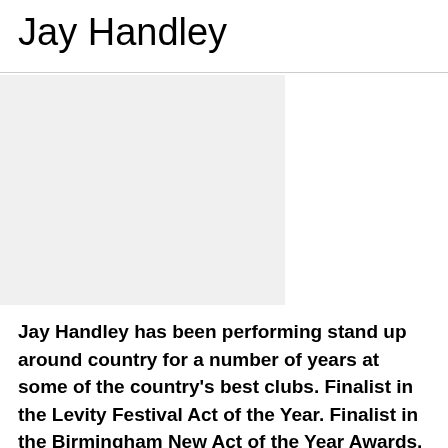Jay Handley
[Figure (photo): Photo placeholder area for Jay Handley, light gray rectangle]
Jay Handley has been performing stand up around country for a number of years at some of the country's best clubs. Finalist in the Levity Festival Act of the Year. Finalist in the Birmingham New Act of the Year Awards. Semi-finalist in the LOADED